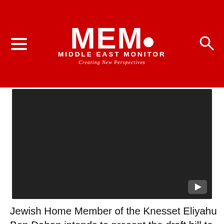MEMO MIDDLE EAST MONITOR Creating New Perspectives
[Figure (screenshot): Dark video thumbnail with YouTube play button in bottom-right corner]
Jewish Home Member of the Knesset Eliyahu Ben Dahan intends to present the draft bill to the Knesset in the coming weeks.
"The law is intended to establish that